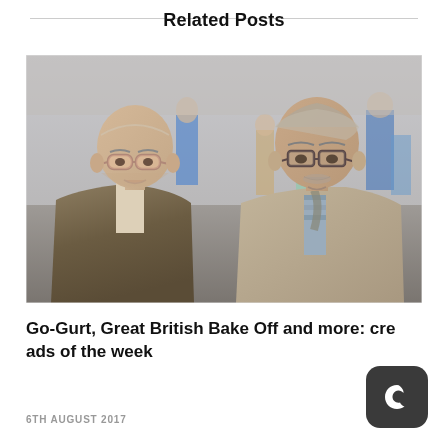Related Posts
[Figure (photo): Two elderly men sitting side by side in an outdoor crowd scene. The man on the left is bald with round pinkish glasses and wearing a knit sweater vest. The man on the right has grey hair with rectangular glasses and a moustache, wearing a beige jacket and plaid shirt. Background shows a busy public plaza with people.]
Go-Gurt, Great British Bake Off and more: cre ads of the week
6TH AUGUST 2017